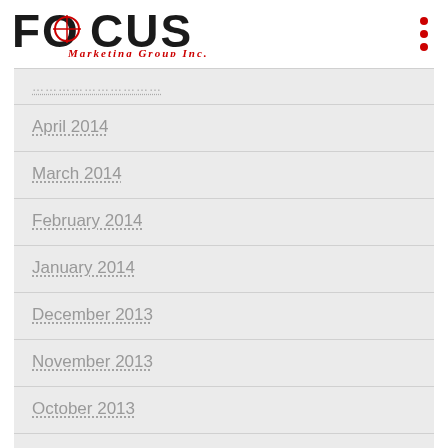FOCUS Marketing Group Inc.
…………………………
April 2014
March 2014
February 2014
January 2014
December 2013
November 2013
October 2013
September 2013
August 2013